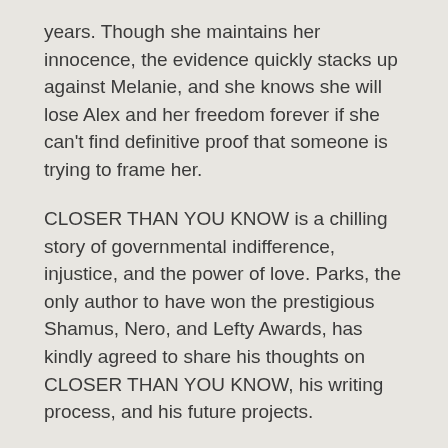years. Though she maintains her innocence, the evidence quickly stacks up against Melanie, and she knows she will lose Alex and her freedom forever if she can't find definitive proof that someone is trying to frame her.
CLOSER THAN YOU KNOW is a chilling story of governmental indifference, injustice, and the power of love. Parks, the only author to have won the prestigious Shamus, Nero, and Lefty Awards, has kindly agreed to share his thoughts on CLOSER THAN YOU KNOW, his writing process, and his future projects.
CLOSER THAN YOU KNOW explores the effectiveness of the child-services and criminal-justice systems. What drew you to write about these issues? Are any of the incidents in the book based on fact?